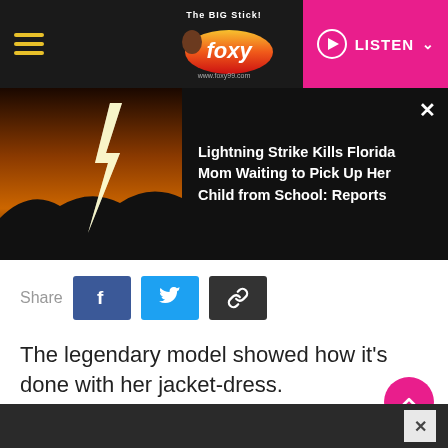[Figure (screenshot): Foxy 99 FM radio station website header with hamburger menu, logo, and pink LISTEN button]
[Figure (photo): Lightning strike over dark silhouetted hills at sunset/dusk with orange sky]
Lightning Strike Kills Florida Mom Waiting to Pick Up Her Child from School: Reports
Share
The legendary model showed how it's done with her jacket-dress.
[Figure (photo): Crowd of people at what appears to be a fashion or public event, partially visible]